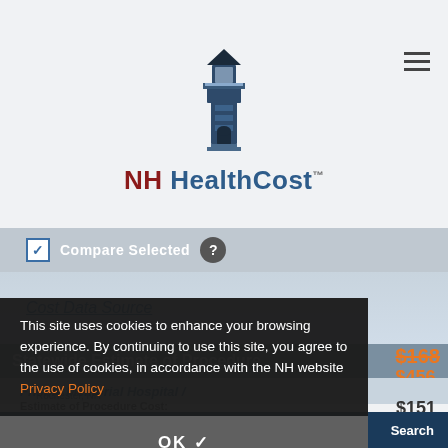[Figure (logo): NH HealthCost lighthouse logo with text 'NH HealthCost TM']
☑ Compare Selected ?
Cost Data Source
Statewide Estimate of Procedure Cost: $168 / $456
Frisbie Memorial Hospital / Rochester NH
Estimate of Procedure Cost: $151
This site uses cookies to enhance your browsing experience. By continuing to use this site, you agree to the use of cookies, in accordance with the NH website Privacy Policy
OK ✓
☑ COMPARE SELECTED
Search